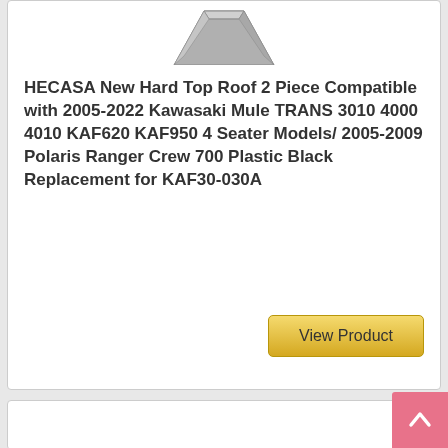[Figure (illustration): Partial view of a product (hard top roof panel) shown at the top of a product listing card, partially cropped]
HECASA New Hard Top Roof 2 Piece Compatible with 2005-2022 Kawasaki Mule TRANS 3010 4000 4010 KAF620 KAF950 4 Seater Models/ 2005-2009 Polaris Ranger Crew 700 Plastic Black Replacement for KAF30-030A
[Figure (illustration): View Product button with golden/yellow gradient background]